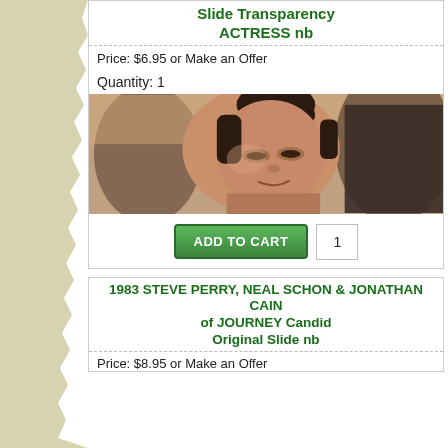Slide Transparency ACTRESS nb
Price: $6.95 or Make an Offer
Quantity: 1
[Figure (photo): Close-up candid photo of a woman with dark hair pulled up, smiling slightly, photographed outdoors with blurred background figures]
ADD TO CART   1
1983 STEVE PERRY, NEAL SCHON & JONATHAN CAIN of JOURNEY Candid Original Slide nb
Price: $8.95 or Make an Offer